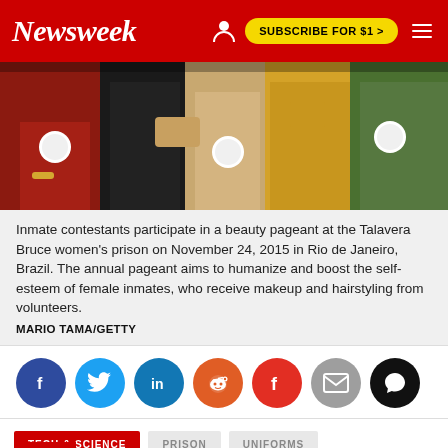Newsweek | SUBSCRIBE FOR $1 >
[Figure (photo): Inmate contestants at a beauty pageant at Talavera Bruce women's prison, showing torsos of women in colorful dresses with pageant numbers pinned on.]
Inmate contestants participate in a beauty pageant at the Talavera Bruce women's prison on November 24, 2015 in Rio de Janeiro, Brazil. The annual pageant aims to humanize and boost the self-esteem of female inmates, who receive makeup and hairstyling from volunteers. MARIO TAMA/GETTY
[Figure (infographic): Social share buttons: Facebook, Twitter, LinkedIn, Reddit, Flipboard, Email, Comments]
TECH & SCIENCE
PRISON
UNIFORMS
CLOTHING
COGNITION